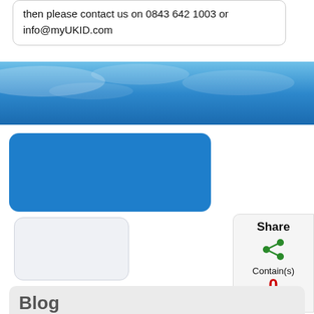then please contact us on 0843 642 1003 or info@myUKID.com
[Figure (illustration): Blue sky banner background with cloud texture]
[Figure (illustration): Blue rounded rectangle image placeholder]
[Figure (illustration): Light gray rounded rectangle image placeholder]
Share
Contain(s)
0
items
Blog
Re-Launch of myUKID
25 Feb 2017
It's now 2017, wow time flies, great meeting today with Rob Williams: